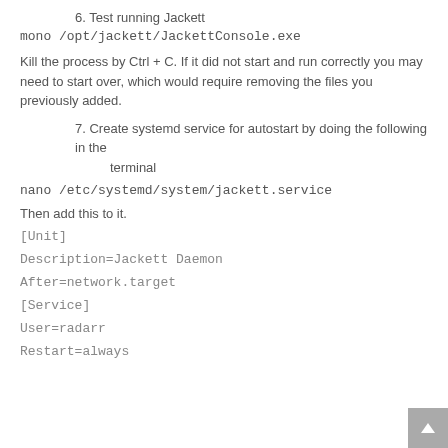6. Test running Jackett
mono /opt/jackett/JackettConsole.exe
Kill the process by Ctrl + C. If it did not start and run correctly you may need to start over, which would require removing the files you previously added.
7. Create systemd service for autostart by doing the following in the terminal
nano /etc/systemd/system/jackett.service
Then add this to it.
[Unit]
Description=Jackett Daemon
After=network.target
[Service]
User=radarr
Restart=always